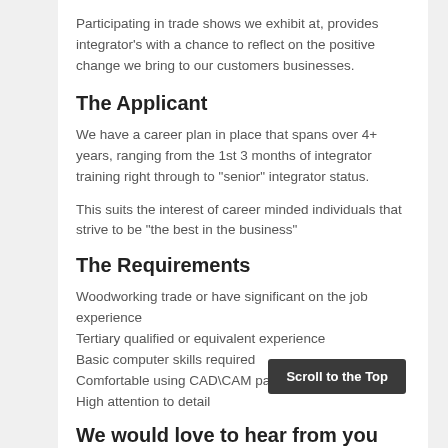Participating in trade shows we exhibit at, provides integrator's with a chance to reflect on the positive change we bring to our customers businesses.
The Applicant
We have a career plan in place that spans over 4+ years, ranging from the 1st 3 months of integrator training right through to "senior" integrator status.
This suits the interest of career minded individuals that strive to be "the best in the business"
The Requirements
Woodworking trade or have significant on the job experience
Tertiary qualified or equivalent experience
Basic computer skills required
Comfortable using CAD\CAM packages
High attention to detail
We would love to hear from you